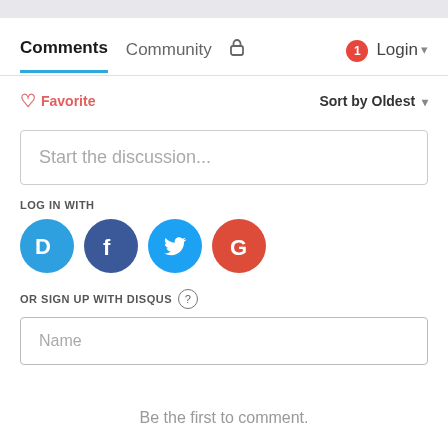Comments   Community   Login
Favorite   Sort by Oldest
Start the discussion...
LOG IN WITH
[Figure (other): Social login icons: Disqus (blue), Facebook (dark blue), Twitter (light blue), Google (red)]
OR SIGN UP WITH DISQUS ?
Name
Be the first to comment.